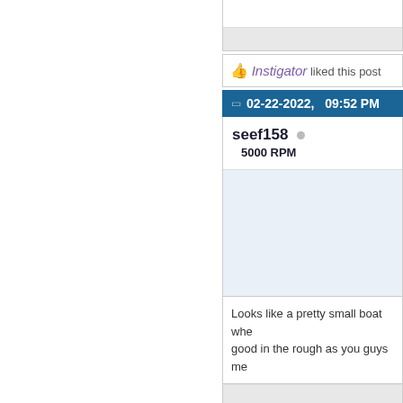[partial post content area at top]
👍 Instigator liked this post
02-22-2022,   09:52 PM
seef158 ○
5000 RPM
Looks like a pretty small boat whe... good in the rough as you guys me...
👍 Instigator liked this post
02-24-2022,   07:35 PM